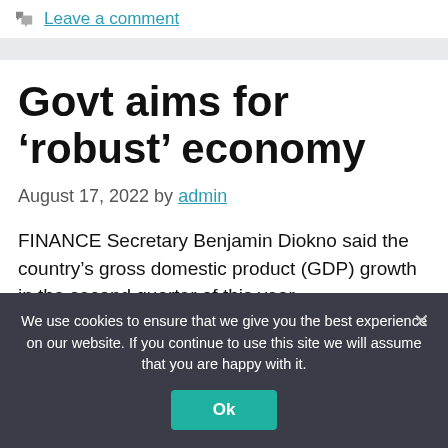Leave a comment
Govt aims for ‘robust’ economy
August 17, 2022 by admin
FINANCE Secretary Benjamin Diokno said the country’s gross domestic product (GDP) growth in the second quarter of this year
We use cookies to ensure that we give you the best experience on our website. If you continue to use this site we will assume that you are happy with it.